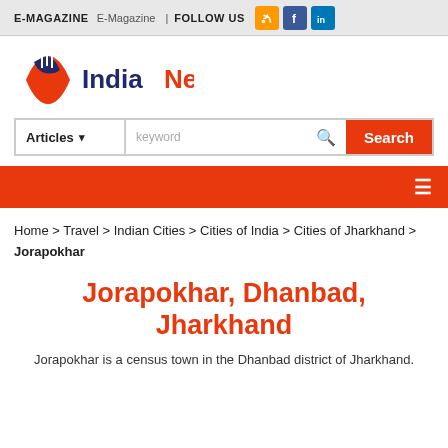E-MAGAZINE | FOLLOW US
[Figure (logo): IndiaNetzone logo with globe icon, text 'India' in dark blue and 'Netzone' in orange-red]
Articles ▾  keyword  Search
Navigation bar with hamburger menu
Home > Travel > Indian Cities > Cities of India > Cities of Jharkhand > Jorapokhar
Jorapokhar, Dhanbad, Jharkhand
Jorapokhar is a census town in the Dhanbad district of Jharkhand.